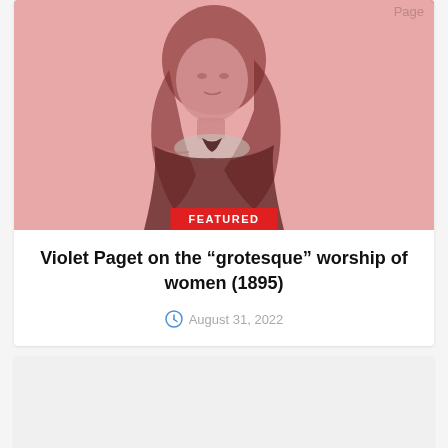[Figure (photo): Sepia/red-tinted vintage portrait photograph of Violet Paget, a young woman with long hair, wearing Victorian-era clothing. Image has a pink-red color wash. A 'Page' text watermark appears in top right. A red 'FEATURED' badge overlays the bottom center of the image.]
Violet Paget on the “grotesque” worship of women (1895)
August 31, 2022